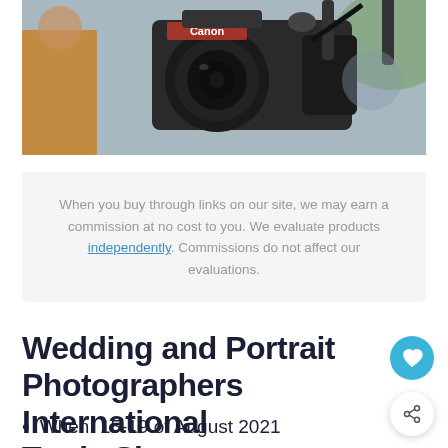[Figure (photo): Photo of Canon camera equipment at a photography event, with people in background]
When you buy through links on our site, we may earn a commission at no cost to you. We evaluate products independently. Commissions do not affect our evaluations.
Wedding and Portrait Photographers International Trade Show
When: 15-19 of August 2021